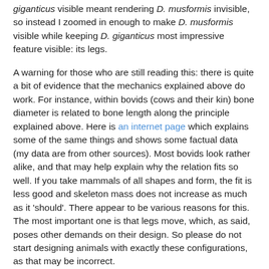giganticus visible meant rendering D. musformis invisible, so instead I zoomed in enough to make D. musformis visible while keeping D. giganticus most impressive feature visible: its legs.
A warning for those who are still reading this: there is quite a bit of evidence that the mechanics explained above do work. For instance, within bovids (cows and their kin) bone diameter is related to bone length along the principle explained above. Here is an internet page which explains some of the same things and shows some factual data (my data are from other sources). Most bovids look rather alike, and that may help explain why the relation fits so well. If you take mammals of all shapes and form, the fit is less good and skeleton mass does not increase as much as it 'should'. There appear to be various reasons for this. The most important one is that legs move, which, as said, poses other demands on their design. So please do not start designing animals with exactly these configurations, as that may be incorrect.
Similar thoughts hold for other organs and tissues. For